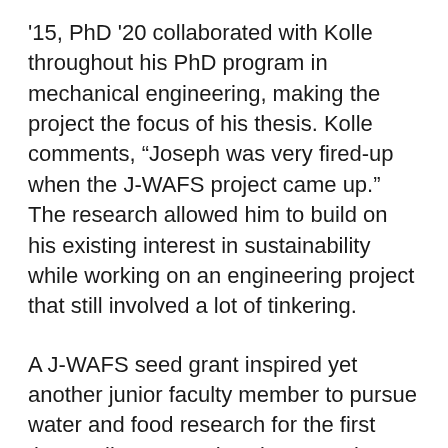'15, PhD '20 collaborated with Kolle throughout his PhD program in mechanical engineering, making the project the focus of his thesis. Kolle comments, “Joseph was very fired-up when the J-WAFS project came up.” The research allowed him to build on his existing interest in sustainability while working on an engineering project that still involved a lot of tinkering.
A J-WAFS seed grant inspired yet another junior faculty member to pursue water and food research for the first time: Julia Ortony, the Finmeccanica Assistant Professor in Materials Science and Engineering.   The 2018 grant she received was her first major grant as a new junior faculty member in the Department of Materials Science and Engineering